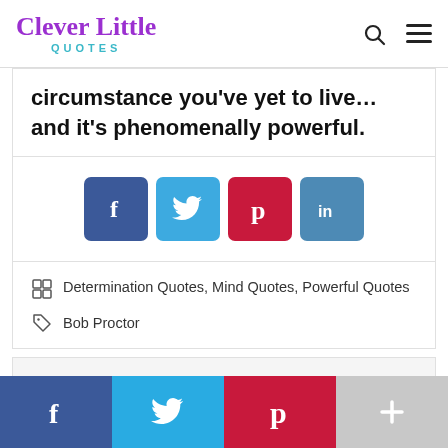Clever Little Quotes
circumstance you've yet to live… and it's phenomenally powerful.
[Figure (infographic): Social share buttons: Facebook (dark blue), Twitter (light blue), Pinterest (red), LinkedIn (steel blue)]
Determination Quotes, Mind Quotes, Powerful Quotes
Bob Proctor
Bottom share bar: Facebook, Twitter, Pinterest, More (+)